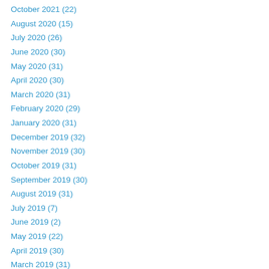October 2021 (22)
August 2020 (15)
July 2020 (26)
June 2020 (30)
May 2020 (31)
April 2020 (30)
March 2020 (31)
February 2020 (29)
January 2020 (31)
December 2019 (32)
November 2019 (30)
October 2019 (31)
September 2019 (30)
August 2019 (31)
July 2019 (7)
June 2019 (2)
May 2019 (22)
April 2019 (30)
March 2019 (31)
February 2019 (28)